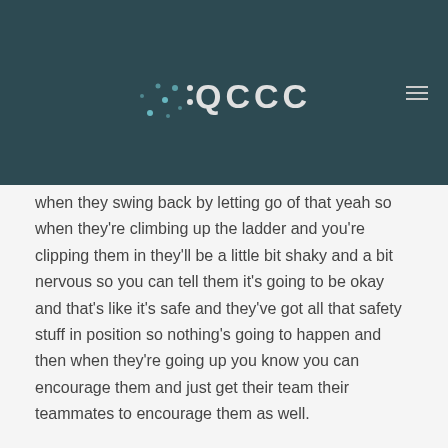QCCC
when they swing back by letting go of that yeah so when they're climbing up the ladder and you're clipping them in they'll be a little bit shaky and a bit nervous so you can tell them it's going to be okay and that's like it's safe and they've got all that safety stuff in position so nothing's going to happen and then when they're going up you know you can encourage them and just get their team their teammates to encourage them as well.
Interviewer: What is the biggest challenge of the giant swing?
Jasmine: I say 90 percent of the kids that go up